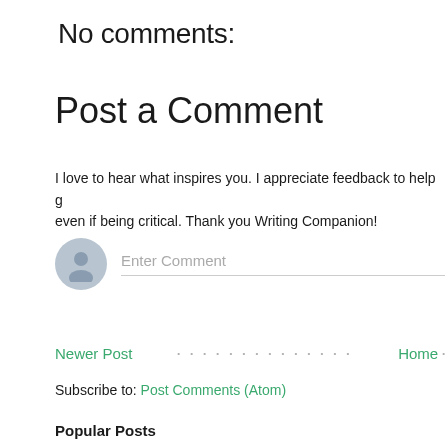No comments:
Post a Comment
I love to hear what inspires you. I appreciate feedback to help gr even if being critical. Thank you Writing Companion!
[Figure (screenshot): Comment input field with user avatar placeholder and 'Enter Comment' placeholder text]
Newer Post • • • • • • • • • • • • • • Home •
Subscribe to: Post Comments (Atom)
Popular Posts
[Figure (photo): Thumbnail image of mountain landscape with dramatic cloudy sky]
The First Post!
I wanted the first post to be about my story. How working on some of the content piec...